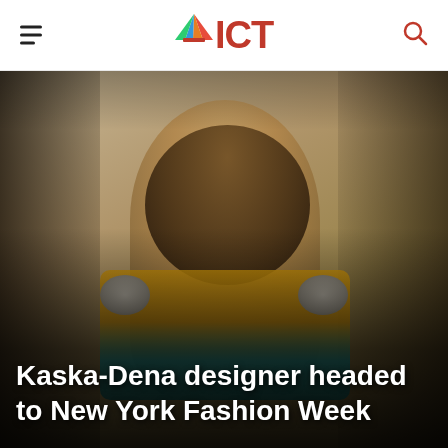ICT (Indian Country Today) - navigation header with hamburger menu and search icon
[Figure (photo): A young Indigenous woman with long brown hair stands in what appears to be a design studio or workspace. She holds up a traditional garment on a white hanger — a golden/ochre vest or top trimmed with gray fur and teal fringe at the bottom, with decorative beadwork. Behind her are clothing racks, a dress form with colorful fabric, framed artwork and design sketches on the wall. The setting is a creative studio workspace.]
Kaska-Dena designer headed to New York Fashion Week